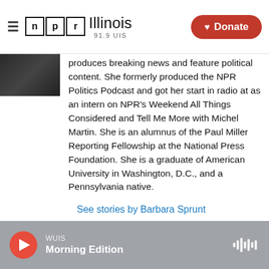NPR Illinois 91.9 UIS — Donate
[Figure (photo): Partial view of a person's photo, cropped at top-left of content area]
produces breaking news and feature political content. She formerly produced the NPR Politics Podcast and got her start in radio at as an intern on NPR's Weekend All Things Considered and Tell Me More with Michel Martin. She is an alumnus of the Paul Miller Reporting Fellowship at the National Press Foundation. She is a graduate of American University in Washington, D.C., and a Pennsylvania native.
See stories by Barbara Sprunt
WUIS — Morning Edition